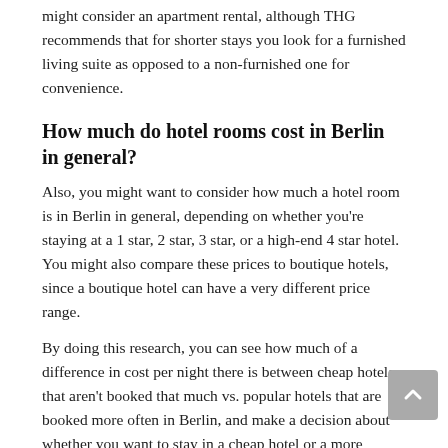might consider an apartment rental, although THG recommends that for shorter stays you look for a furnished living suite as opposed to a non-furnished one for convenience.
How much do hotel rooms cost in Berlin in general?
Also, you might want to consider how much a hotel room is in Berlin in general, depending on whether you're staying at a 1 star, 2 star, 3 star, or a high-end 4 star hotel. You might also compare these prices to boutique hotels, since a boutique hotel can have a very different price range.
By doing this research, you can see how much of a difference in cost per night there is between cheap hotels that aren't booked that much vs. popular hotels that are booked more often in Berlin, and make a decision about whether you want to stay in a cheap hotel or a more expensive hotel.